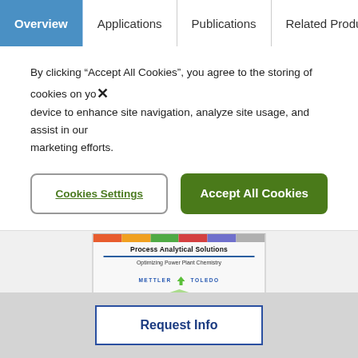Overview | Applications | Publications | Related Products
By clicking “Accept All Cookies”, you agree to the storing of cookies on your device to enhance site navigation, analyze site usage, and assist in our marketing efforts.
Cookies Settings
Accept All Cookies
[Figure (other): Brochure cover: Process Analytical Solutions - Optimizing Power Plant Chemistry, Mettler Toledo logo with green arrow]
POWERFUL SOLUTIONS for Optimizing Your Power Plant
Request Info